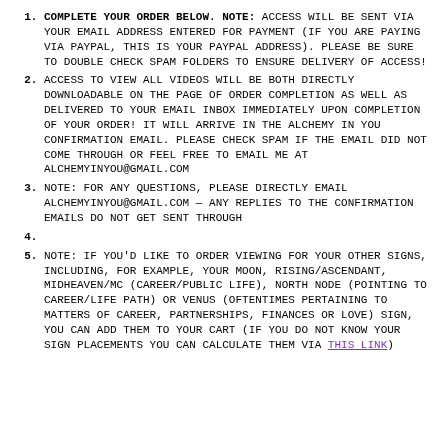COMPLETE YOUR ORDER BELOW. NOTE: ACCESS WILL BE SENT VIA YOUR EMAIL ADDRESS ENTERED FOR PAYMENT (IF YOU ARE PAYING VIA PAYPAL, THIS IS YOUR PAYPAL ADDRESS). PLEASE BE SURE TO DOUBLE CHECK SPAM FOLDERS TO ENSURE DELIVERY OF ACCESS!
ACCESS TO VIEW ALL VIDEOS WILL BE BOTH DIRECTLY DOWNLOADABLE ON THE PAGE OF ORDER COMPLETION AS WELL AS DELIVERED TO YOUR EMAIL INBOX IMMEDIATELY UPON COMPLETION OF YOUR ORDER! IT WILL ARRIVE IN THE ALCHEMY IN YOU CONFIRMATION EMAIL. PLEASE CHECK SPAM IF THE EMAIL DID NOT COME THROUGH OR FEEL FREE TO EMAIL ME AT ALCHEMYINYOU@GMAIL.COM
NOTE: FOR ANY QUESTIONS, PLEASE DIRECTLY EMAIL ALCHEMYINYOU@GMAIL.COM — ANY REPLIES TO THE CONFIRMATION EMAILS DO NOT GET SENT THROUGH
NOTE: IF YOU'D LIKE TO ORDER VIEWING FOR YOUR OTHER SIGNS, INCLUDING, FOR EXAMPLE, YOUR MOON, RISING/ASCENDANT, MIDHEAVEN/MC (CAREER/PUBLIC LIFE), NORTH NODE (POINTING TO CAREER/LIFE PATH) OR VENUS (OFTENTIMES PERTAINING TO MATTERS OF CAREER, PARTNERSHIPS, FINANCES OR LOVE) SIGN, YOU CAN ADD THEM TO YOUR CART (IF YOU DO NOT KNOW YOUR SIGN PLACEMENTS YOU CAN CALCULATE THEM VIA THIS LINK)